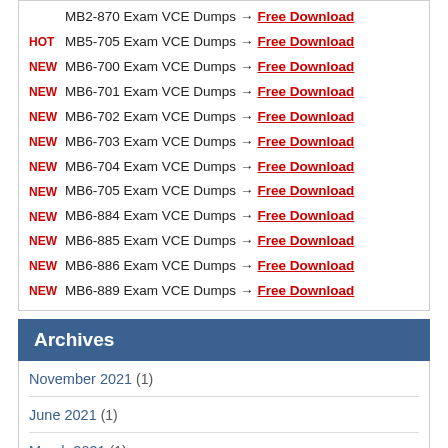MB2-870 Exam VCE Dumps → Free Download
HOT MB5-705 Exam VCE Dumps → Free Download
NEW MB6-700 Exam VCE Dumps → Free Download
NEW MB6-701 Exam VCE Dumps → Free Download
NEW MB6-702 Exam VCE Dumps → Free Download
NEW MB6-703 Exam VCE Dumps → Free Download
NEW MB6-704 Exam VCE Dumps → Free Download
NEW MB6-705 Exam VCE Dumps → Free Download
NEW MB6-884 Exam VCE Dumps → Free Download
NEW MB6-885 Exam VCE Dumps → Free Download
NEW MB6-886 Exam VCE Dumps → Free Download
NEW MB6-889 Exam VCE Dumps → Free Download
Archives
November 2021 (1)
June 2021 (1)
March 2021 (1)
December 2020 (1)